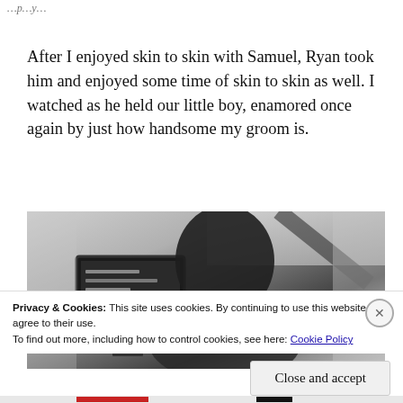...
After I enjoyed skin to skin with Samuel, Ryan took him and enjoyed some time of skin to skin as well. I watched as he held our little boy, enamored once again by just how handsome my groom is.
[Figure (photo): Black and white photo of a person (seen from behind/side) sitting in front of a monitor/screen in what appears to be a hospital or medical room.]
Privacy & Cookies: This site uses cookies. By continuing to use this website, you agree to their use.
To find out more, including how to control cookies, see here: Cookie Policy
Close and accept